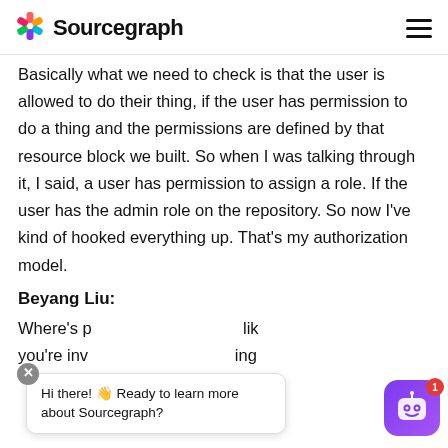Sourcegraph
Basically what we need to check is that the user is allowed to do their thing, if the user has permission to do a thing and the permissions are defined by that resource block we built. So when I was talking through it, I said, a user has permission to assign a role. If the user has the admin role on the repository. So now I've kind of hooked everything up. That's my authorization model.
Beyang Liu:
Where's p... lik... you're inv... ing
[Figure (screenshot): Chat widget overlay with 'Hi there! Ready to learn more about Sourcegraph?' message bubble, close button (X), and Sourcegraph bot icon with red notification badge showing 1]